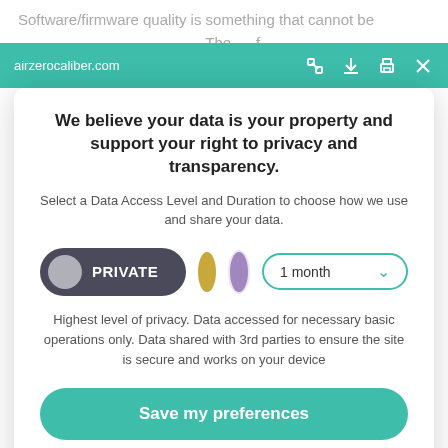airzerocaliber.com
We believe your data is your property and support your right to privacy and transparency.
Select a Data Access Level and Duration to choose how we use and share your data.
PRIVATE  1 month
Highest level of privacy. Data accessed for necessary basic operations only. Data shared with 3rd parties to ensure the site is secure and works on your device
Save my preferences
Customize  Privacy policy